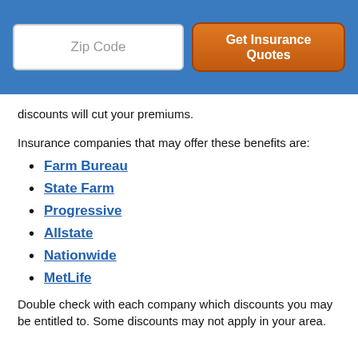Zip Code | Get Insurance Quotes
discounts will cut your premiums.
Insurance companies that may offer these benefits are:
Farm Bureau
State Farm
Progressive
Allstate
Nationwide
MetLife
Double check with each company which discounts you may be entitled to. Some discounts may not apply in your area.